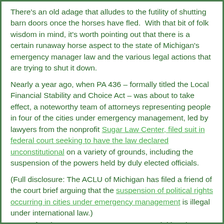There's an old adage that alludes to the futility of shutting barn doors once the horses have fled.  With that bit of folk wisdom in mind, it's worth pointing out that there is a certain runaway horse aspect to the state of Michigan's emergency manager law and the various legal actions that are trying to shut it down.
Nearly a year ago, when PA 436 – formally titled the Local Financial Stability and Choice Act – was about to take effect, a noteworthy team of attorneys representing people in four of the cities under emergency management, led by lawyers from the nonprofit Sugar Law Center, filed suit in federal court seeking to have the law declared unconstitutional on a variety of grounds, including the suspension of the powers held by duly elected officials.
(Full disclosure: The ACLU of Michigan has filed a friend of the court brief arguing that the suspension of political rights occurring in cities under emergency management is illegal under international law.)
Soon after the Sugar Law Center case was initiated, a similar lawsuit was filed by the NAACP on behalf of a group of African-American Detroit residents. Both cases were assigned to U.S...